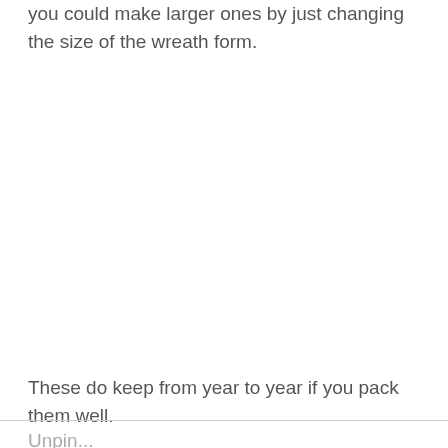you could make larger ones by just changing the size of the wreath form.
These do keep from year to year if you pack them well.
Unpin...